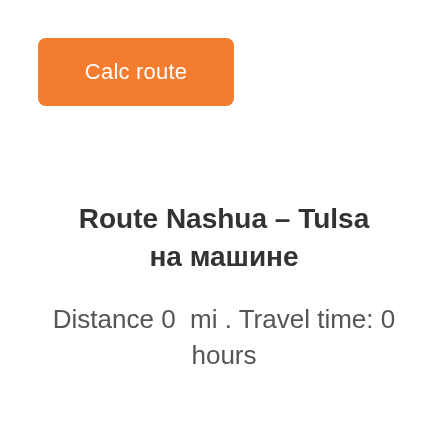[Figure (other): Orange rounded rectangle button with white text 'Calc route']
Route Nashua – Tulsa на машине
Distance 0  mi . Travel time: 0 hours